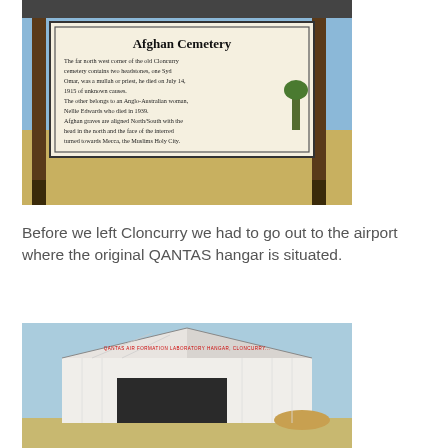[Figure (photo): Photo of an outdoor sign reading 'Afghan Cemetery' mounted on a wooden frame post structure, with dry grass and blue sky in background. Sign text describes the far north west corner of the old Cloncurry cemetery containing two headstones.]
Before we left Cloncurry we had to go out to the airport where the original QANTAS hangar is situated.
[Figure (photo): Photo of a white corrugated iron building/hangar at Cloncurry airport with a sign on its gable end, under a blue sky.]